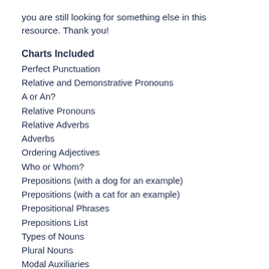you are still looking for something else in this resource. Thank you!
Charts Included
Perfect Punctuation
Relative and Demonstrative Pronouns
A or An?
Relative Pronouns
Relative Adverbs
Adverbs
Ordering Adjectives
Who or Whom?
Prepositions (with a dog for an example)
Prepositions (with a cat for an example)
Prepositional Phrases
Prepositions List
Types of Nouns
Plural Nouns
Modal Auxiliaries
Contractions